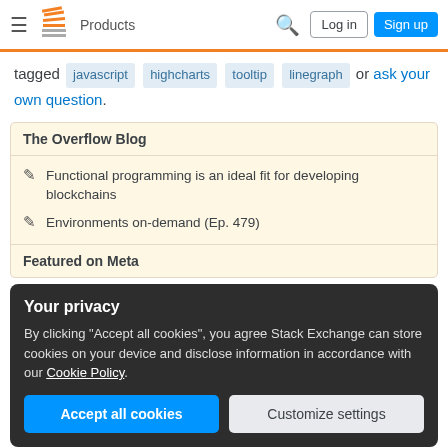≡ [Stack Overflow logo] Products 🔍 Log in Sign up
tagged javascript highcharts tooltip linegraph or ask your own question.
The Overflow Blog
Functional programming is an ideal fit for developing blockchains
Environments on-demand (Ep. 479)
Featured on Meta
Your privacy
By clicking "Accept all cookies", you agree Stack Exchange can store cookies on your device and disclose information in accordance with our Cookie Policy.
Accept all cookies   Customize settings
Collectives Update: WSO2 launches, and Google Go...